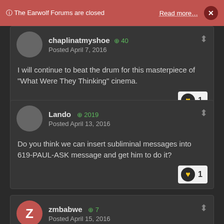ⓘ The Earwolf Forums are closed   Read more…   ×
chapiluatemyshoe
Posted April 7, 2016

I will continue to beat the drum for this masterpiece of "What Were They Thinking" cinema.
Lando ⊕ 2019
Posted April 13, 2016

Do you think we can insert subliminal messages into 619-PAUL-ASK message and get him to do it?
zmbabwe ⊕ 7
Posted April 15, 2016